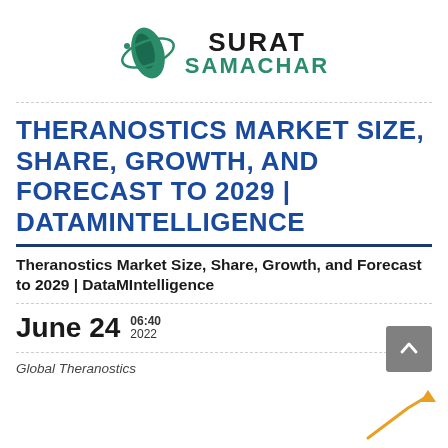[Figure (logo): Surat Samachar logo with teal leaf/globe icon and text SURAT SAMACHAR]
THERANOSTICS MARKET SIZE, SHARE, GROWTH, AND FORECAST TO 2029 | DATAMINTELLIGENCE
Theranostics Market Size, Share, Growth, and Forecast to 2029 | DataMIntelligence
June 24   06:40 2022
Global Theranostics